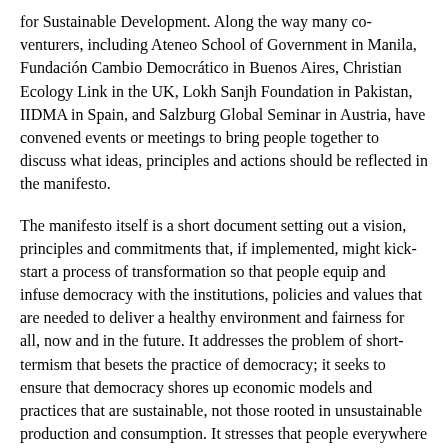for Sustainable Development. Along the way many co-venturers, including Ateneo School of Government in Manila, Fundación Cambio Democrático in Buenos Aires, Christian Ecology Link in the UK, Lokh Sanjh Foundation in Pakistan, IIDMA in Spain, and Salzburg Global Seminar in Austria, have convened events or meetings to bring people together to discuss what ideas, principles and actions should be reflected in the manifesto.
The manifesto itself is a short document setting out a vision, principles and commitments that, if implemented, might kick-start a process of transformation so that people equip and infuse democracy with the institutions, policies and values that are needed to deliver a healthy environment and fairness for all, now and in the future. It addresses the problem of short-termism that besets the practice of democracy; it seeks to ensure that democracy shores up economic models and practices that are sustainable, not those rooted in unsustainable production and consumption. It stresses that people everywhere must count in the business of democracy; that global governance must be democratised; that education in its widest sense must equip people to be active citizens and to care deeply for environmental and social justice. And it will offer a menu of commitments to inspire the pathways to change.
The participants in this new initiative around the world will be far more important, though, than any manifesto that might be its